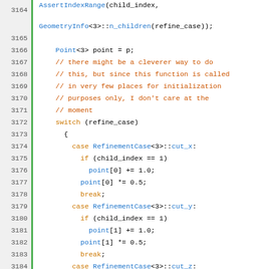[Figure (screenshot): Source code listing in C++ showing lines 3164-3197 of a geometry refinement function, with syntax highlighting. Line numbers in left column, green vertical bar separator, code in right area with orange keywords, blue identifiers, and dark orange comments.]